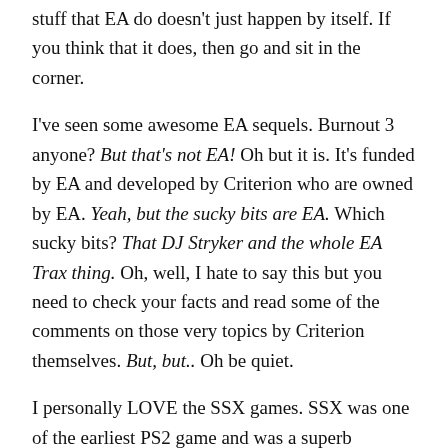stuff that EA do doesn't just happen by itself. If you think that it does, then go and sit in the corner.
I've seen some awesome EA sequels. Burnout 3 anyone? But that's not EA! Oh but it is. It's funded by EA and developed by Criterion who are owned by EA. Yeah, but the sucky bits are EA. Which sucky bits? That DJ Stryker and the whole EA Trax thing. Oh, well, I hate to say this but you need to check your facts and read some of the comments on those very topics by Criterion themselves. But, but.. Oh be quiet.
I personally LOVE the SSX games. SSX was one of the earliest PS2 game and was a superb showcase for it's potential after the lacklustre release of launch titles like Ridge Racer 5. It's sequel expanded on the promise of the first one and when SSX 3 was announced I wondered just